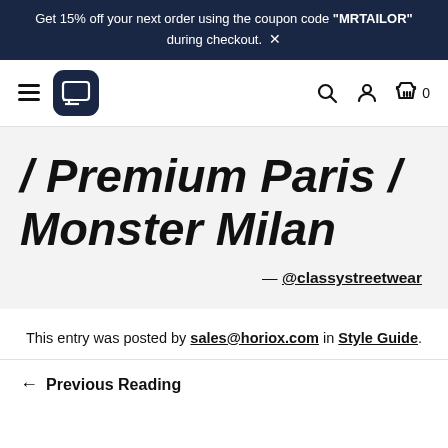Get 15% off your next order using the coupon code “MRTAILOR” during checkout. ×
[Figure (logo): Navigation bar with hamburger menu, dark blue rounded square logo, search icon, account icon, and shopping bag icon with count 0]
/ Premium Paris / Monster Milan
— @classystreetwear
This entry was posted by sales@horiox.com in Style Guide.
← Previous Reading